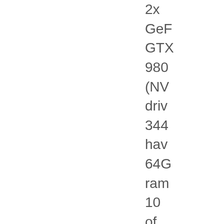2x GeForce GTX 980 (NVIDIA driver 344.48) have 64GB ram 10 of 12 cpu cores active and the two graphics cards active as OpenCL